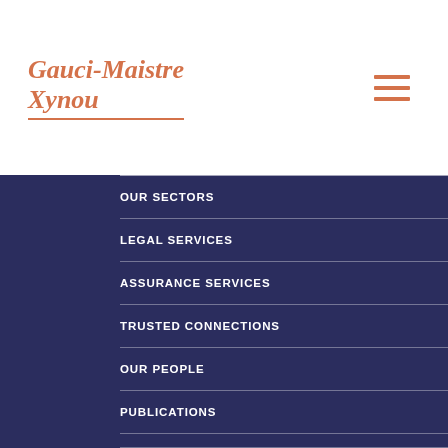Gauci-Maistre Xynou
OUR SECTORS
LEGAL SERVICES
ASSURANCE SERVICES
TRUSTED CONNECTIONS
OUR PEOPLE
PUBLICATIONS
NEWS & PRESS
EVENTS
CAREERS
E SERVICES